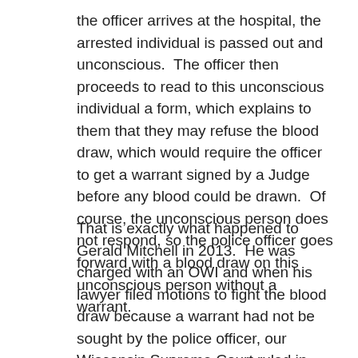the officer arrives at the hospital, the arrested individual is passed out and unconscious. The officer then proceeds to read to this unconscious individual a form, which explains to them that they may refuse the blood draw, which would require the officer to get a warrant signed by a Judge before any blood could be drawn. Of course, the unconscious person does not respond, so the police officer goes forward with a blood draw on this unconscious person without a warrant.
That is exactly what happened to Gerald Mitchell in 2013. He was charged with an OWI and when his lawyer filed motions to fight the blood draw because a warrant had not be sought by the police officer, our Wisconsin Supreme Court ruled in State vs. Mitchell that the warrantless blood draw was